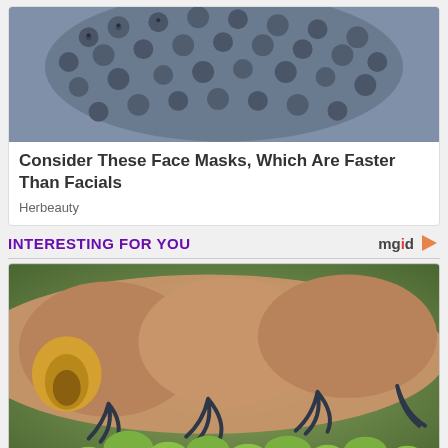[Figure (photo): Close-up photo of blueberries or dark round seeds in a bowl]
Consider These Face Masks, Which Are Faster Than Facials
Herbeauty
INTERESTING FOR YOU
[Figure (photo): Electron microscope image of a tardigrade (water bear) walking on green moss-like vegetation]
What Makes Tardigrades So Special?